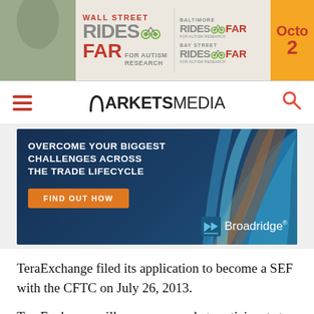[Figure (illustration): Wall Street Rides Far for Autism Research charity cycling event banner advertisement with Baltimore Rides Far and Bay Street Rides Far logos, and an orange panel with 'Octo 20' text partially visible]
MARKETS MEDIA
[Figure (illustration): Broadridge advertisement: 'Overcome your biggest challenges across the trade lifecycle' with 'Find Out How' button and Broadridge logo on dark blue background with colorful wave graphics]
TeraExchange filed its application to become a SEF with the CFTC on July 26, 2013.
TeraExchange will empower market participants to trade across various financial